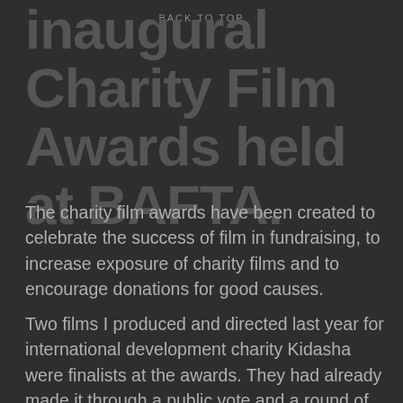BACK TO TOP
inaugural Charity Film Awards held at BAFTA.
The charity film awards have been created to celebrate the success of film in fundraising, to increase exposure of charity films and to encourage donations for good causes.
Two films I produced and directed last year for international development charity Kidasha were finalists at the awards. They had already made it through a public vote and a round of judging so I was pretty overwhelmed to have made it that far.
Kidasha support children living in entrenched poverty in Nepal. I spent time filming with these children and created